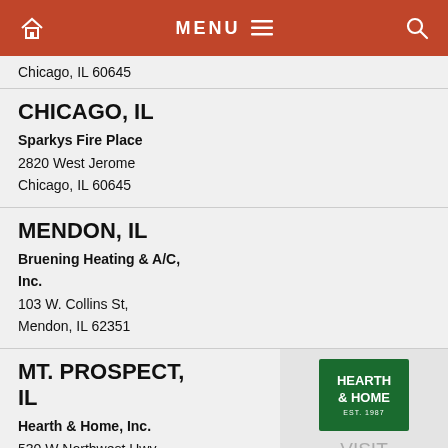MENU
Chicago, IL 60645
CHICAGO, IL
Sparkys Fire Place
2820 West Jerome
Chicago, IL 60645
MENDON, IL
Bruening Heating & A/C, Inc.
103 W. Collins St,
Mendon, IL 62351
MT. PROSPECT, IL
Hearth & Home, Inc.
530 W Northwest Hwy
Mt. Prospect, IL 60056
[Figure (logo): Hearth & Home green logo square]
VISIT STORE PAGE